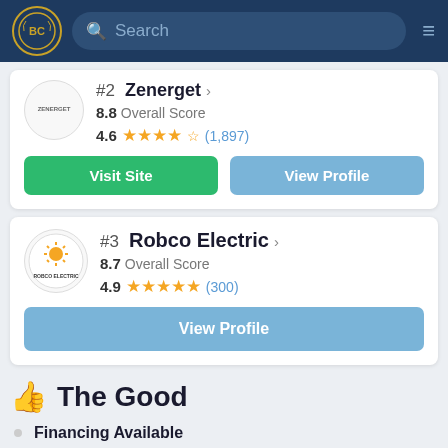BC Search [navigation bar]
#2 Zenerget › 8.8 Overall Score 4.6 ★★★★½ (1,897)
Visit Site | View Profile
#3 Robco Electric › 8.7 Overall Score 4.9 ★★★★★ (300)
View Profile
👍 The Good
Financing Available
Community Engagement